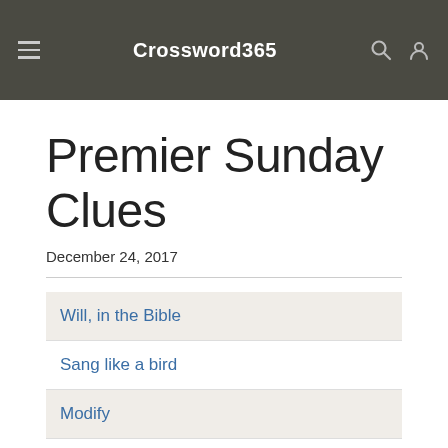Crossword365
Premier Sunday Clues
December 24, 2017
Will, in the Bible
Sang like a bird
Modify
Pages, e.g.